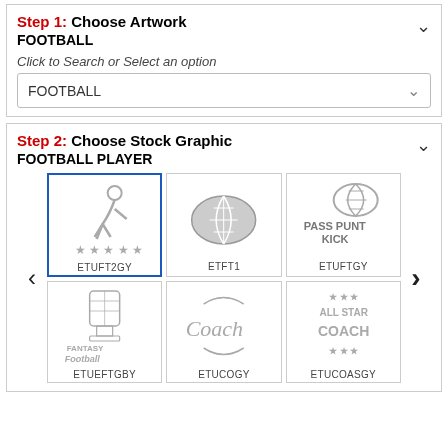Step 1: Choose Artwork
FOOTBALL
Click to Search or Select an option
FOOTBALL
Step 2: Choose Stock Graphic
FOOTBALL PLAYER
[Figure (illustration): Grid of 6 football-themed stock graphics: football player silhouette with stars (ETUFT2GY, selected), football (ETFT1), pass punt kick graphic (ETUFTGY), fantasy football trophy (ETUEFTGBY), Coach script (ETUCOGY), All Star Coach (ETUCOASGY)]